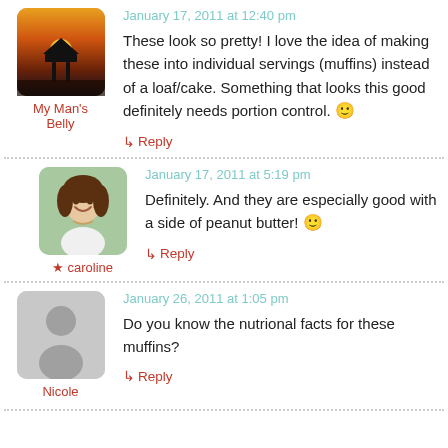[Figure (photo): Avatar photo showing a sunset silhouette of a lifeguard tower with orange sky]
My Man's Belly
January 17, 2011 at 12:40 pm
These look so pretty! I love the idea of making these into individual servings (muffins) instead of a loaf/cake. Something that looks this good definitely needs portion control. 🙂
↳ Reply
[Figure (photo): Avatar photo of a smiling young woman with brown hair, white top, against green background]
★ caroline
January 17, 2011 at 5:19 pm
Definitely. And they are especially good with a side of peanut butter! 🙂
↳ Reply
[Figure (illustration): Generic gray avatar silhouette placeholder]
Nicole
January 26, 2011 at 1:05 pm
Do you know the nutrional facts for these muffins?
↳ Reply